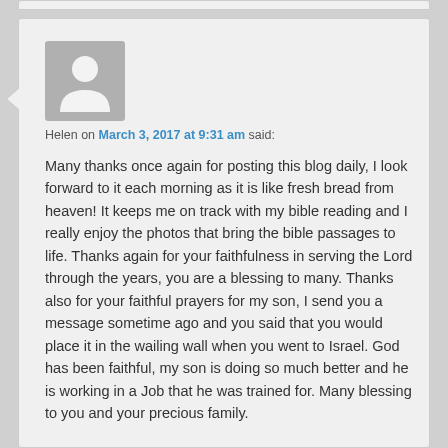[Figure (illustration): Generic user avatar placeholder — grey square with white silhouette of a person (head circle and shoulders arc)]
Helen on March 3, 2017 at 9:31 am said:
Many thanks once again for posting this blog daily, I look forward to it each morning as it is like fresh bread from heaven! It keeps me on track with my bible reading and I really enjoy the photos that bring the bible passages to life. Thanks again for your faithfulness in serving the Lord through the years, you are a blessing to many. Thanks also for your faithful prayers for my son, I send you a message sometime ago and you said that you would place it in the wailing wall when you went to Israel. God has been faithful, my son is doing so much better and he is working in a Job that he was trained for. Many blessing to you and your precious family.